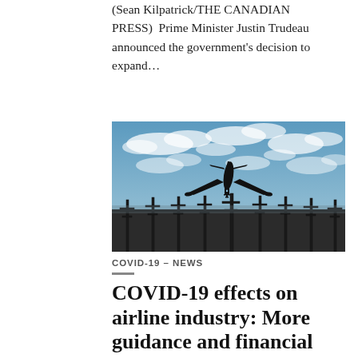(Sean Kilpatrick/THE CANADIAN PRESS)  Prime Minister Justin Trudeau announced the government's decision to expand…
[Figure (photo): Airplane landing over airport runway approach lights against a cloudy blue sky, silhouetted against the sky. Date badge reads APR 03.]
COVID-19 – NEWS
COVID-19 effects on airline industry: More guidance and financial support